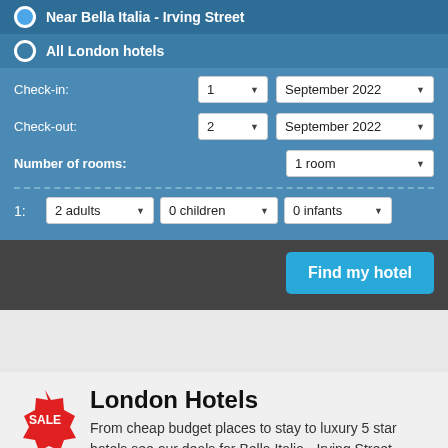Near Bella Italia - Irving Street
All London hotels
Check-in:
1 | September 2022
Check-out:
2 | September 2022
Number of rooms: 1 room
1: 2 adults | 0 children | 0 infants
Find my hotel
London Hotels
From cheap budget places to stay to luxury 5 star hotels see our deals for Bella Italia - Irving Street